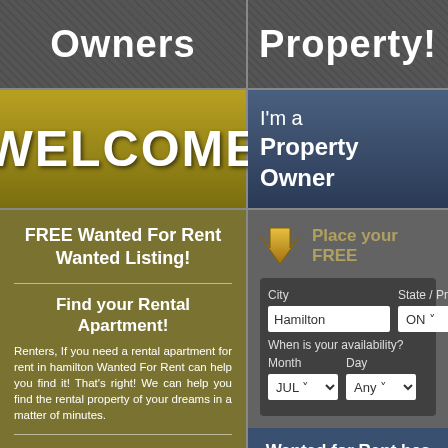Owners
Property!
WELCOME
I'm a Property Owner
FREE Wanted For Rent Wanted Listing!
Find your Rental Apartment!
Renters, If you need a rental apartment for rent in hamilton Wanted For Rent can help you find it! That's right! We can help you find the rental property of your dreams in a matter of minutes.
Best of all, it's FREE!
Wanted For Rent can help you find any type of rental apartment or home you may need. It doesn't matter if it's an apartment, a house, a condo or anything, we can help you find a landlord or property owner! And
Place your FREE
City
State / Pr
Hamilton
ON
When is your availability?
Month
Day
JUL
Any
Wanted for Rent has multiple listing areas!